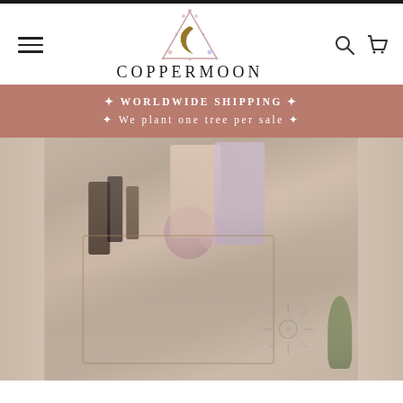[Figure (logo): Coppermoon logo: a triangle with floral border and crescent moon symbol, with the text COPPERMOON below]
✦ WORLDWIDE SHIPPING ✦
✦ We plant one tree per sale ✦
[Figure (photo): A wooden display box with compartments containing essential oil bottles, crystals, tarot/oracle cards with floral and mystical artwork, and a sun mandala drawing on the bottom. Green plant leaves visible on the right side.]